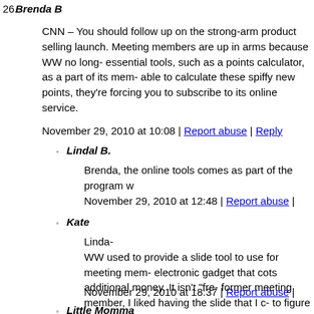26. Brenda B
CNN – You should follow up on the strong-arm product selling launch. Meeting members are up in arms because WW no longer provides essential tools, such as a points calculator, as a part of its mem- able to calculate these spiffy new points, they're forcing you to subscribe to its online service.
November 29, 2010 at 10:08 | Report abuse | Reply
Lindal B.
Brenda, the online tools comes as part of the program w
November 29, 2010 at 12:48 | Report abuse |
Kate
Linda-
WW used to provide a slide tool to use for meeting mem- electronic gadget that cots additional money. It isn't "fre- former meeting member, I liked having the slide that I c- to figure out what to buy. If I want to do that now, I have money to purchase the calculator.
November 29, 2010 at 18:37 | Report abuse |
Little Momma